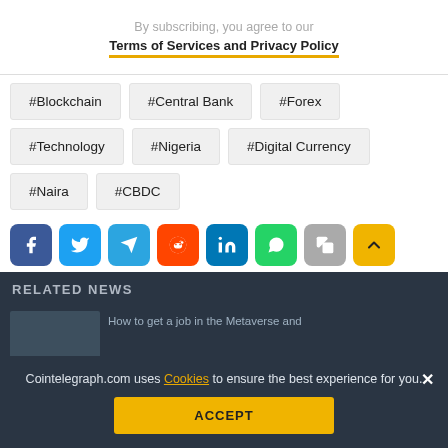By subscribing, you agree to our Terms of Services and Privacy Policy
#Blockchain
#Central Bank
#Forex
#Technology
#Nigeria
#Digital Currency
#Naira
#CBDC
[Figure (infographic): Social media share buttons: Facebook, Twitter, Telegram, Reddit, LinkedIn, WhatsApp, Copy, Scroll-to-top]
RELATED NEWS
Cointelegraph.com uses Cookies to ensure the best experience for you.
How to get a job in the Metaverse and
ACCEPT